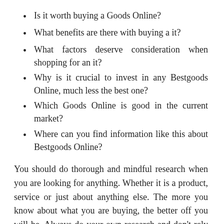Is it worth buying a Goods Online?
What benefits are there with buying a it?
What factors deserve consideration when shopping for an it?
Why is it crucial to invest in any Bestgoods Online, much less the best one?
Which Goods Online is good in the current market?
Where can you find information like this about Bestgoods Online?
You should do thorough and mindful research when you are looking for anything. Whether it is a product, service or just about anything else. The more you know about what you are buying, the better off you will be. Always do your own research and don't rely on other people to do it for you. It is your money and your effort and your time. Don't buy anything unless you make sure you really need to. If